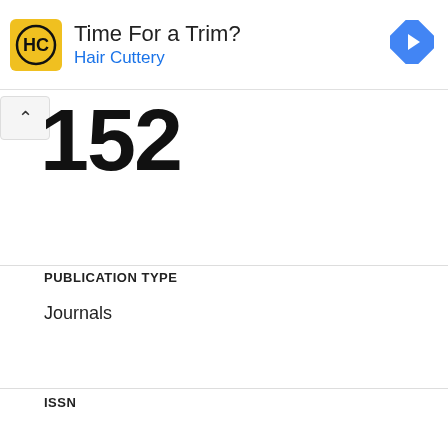[Figure (screenshot): Advertisement banner for Hair Cuttery with yellow HC logo, text 'Time For a Trim?' and 'Hair Cuttery' in blue, and a blue diamond-shaped navigation arrow icon on the right]
152
PUBLICATION TYPE
Journals
ISSN